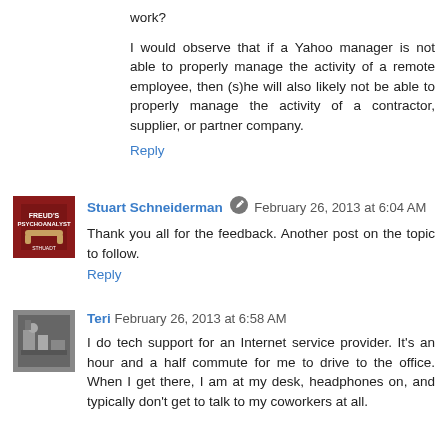work?
I would observe that if a Yahoo manager is not able to properly manage the activity of a remote employee, then (s)he will also likely not be able to properly manage the activity of a contractor, supplier, or partner company.
Reply
Stuart Schneiderman   February 26, 2013 at 6:04 AM
Thank you all for the feedback. Another post on the topic to follow.
Reply
Teri   February 26, 2013 at 6:58 AM
I do tech support for an Internet service provider. It's an hour and a half commute for me to drive to the office. When I get there, I am at my desk, headphones on, and typically don't get to talk to my coworkers at all.